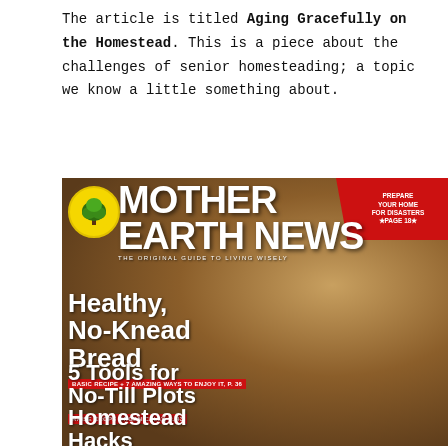The article is titled Aging Gracefully on the Homestead. This is a piece about the challenges of senior homesteading; a topic we know a little something about.
[Figure (photo): Mother Earth News magazine cover featuring bread loaves in background. Headlines include 'Healthy, No-Knead Bread', '5 Tools for No-Till Plots', and 'Homestead Hacks'. Red banner top right reads 'Prepare Your Home For Disasters Page 18'. Logo circle with tree on yellow background. Tagline: The Original Guide to Living Wisely.]